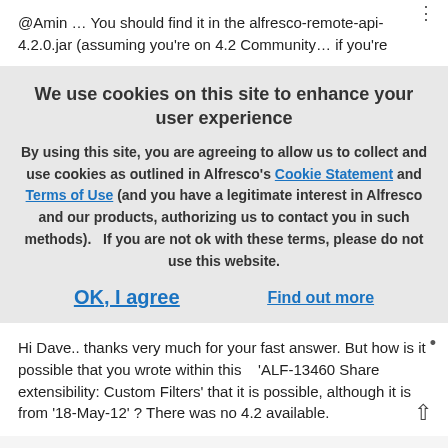@Amin … You should find it in the alfresco-remote-api-4.2.0.jar (assuming you're on 4.2 Community… if you're
We use cookies on this site to enhance your user experience
By using this site, you are agreeing to allow us to collect and use cookies as outlined in Alfresco's Cookie Statement and Terms of Use (and you have a legitimate interest in Alfresco and our products, authorizing us to contact you in such methods).   If you are not ok with these terms, please do not use this website.
OK, I agree
Find out more
Hi Dave.. thanks very much for your fast answer.  But how is it possible that you wrote within this    'ALF-13460 Share extensibility: Custom Filters' that it is possible, although it is from '18-May-12' ? There was no 4.2 available.